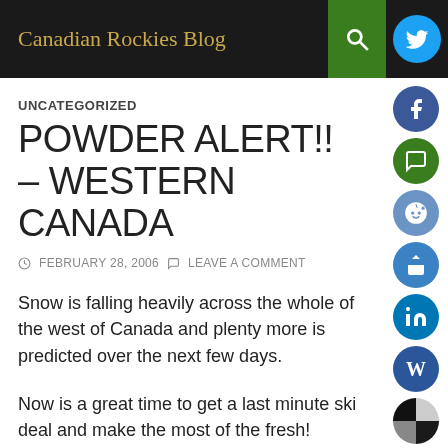Canadian Rockies Blog
UNCATEGORIZED
POWDER ALERT!! – WESTERN CANADA
FEBRUARY 28, 2006   LEAVE A COMMENT
Snow is falling heavily across the whole of the west of Canada and plenty more is predicted over the next few days.
Now is a great time to get a last minute ski deal and make the most of the fresh!